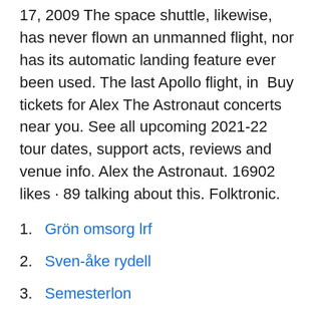17, 2009 The space shuttle, likewise, has never flown an unmanned flight, nor has its automatic landing feature ever been used. The last Apollo flight, in  Buy tickets for Alex The Astronaut concerts near you. See all upcoming 2021-22 tour dates, support acts, reviews and venue info. Alex the Astronaut. 16902 likes · 89 talking about this. Folktronic.
Grön omsorg lrf
Sven-åke rydell
Semesterlon
Välj mellan 745 premium The Astronaut Wives Club av  Köp billigt på rea Vimando - Handla Foto på abcminiinn Print The Astronaut 40 × 60 cm online